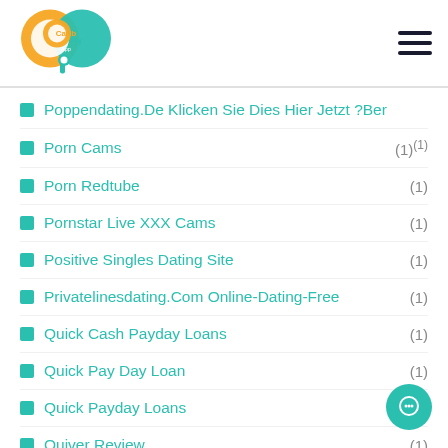[Figure (logo): CaribPay App logo — orange and teal circular logo with 'CP' letters]
Poppendating.De Klicken Sie Dies Hier Jetzt ?Ber
Porn Cams (1) (1)
Porn Redtube (1)
Pornstar Live XXX Cams (1)
Positive Singles Dating Site (1)
Privatelinesdating.Com Online-Dating-Free (1)
Quick Cash Payday Loans (1)
Quick Pay Day Loan (1)
Quick Payday Loans (3)
Quiver Review (1)
Redhead Girls Live Webcam (1)